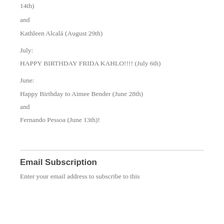14th)
and
Kathleen Alcalá (August 29th)
July:
HAPPY BIRTHDAY FRIDA KAHLO!!!! (July 6th)
June:
Happy Birthday to Aimee Bender (June 28th)
and
Fernando Pessoa (June 13th)!
Email Subscription
Enter your email address to subscribe to this